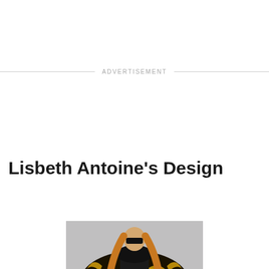ADVERTISEMENT
Lisbeth Antoine's Design
[Figure (photo): Fashion model wearing dramatic black and gold swirling sculptural outfit with long flowing hair and black sunglasses, on a grey background]